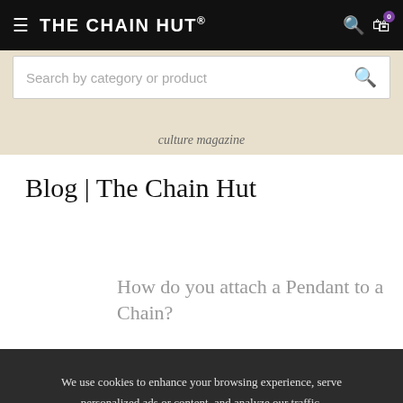THE CHAIN HUT®
[Figure (screenshot): Search bar overlay on beige banner area with text 'Search by category or product' and search icon]
culture magazine
Blog | The Chain Hut
How do you attach a Pendant to a Chain?
We use cookies to enhance your browsing experience, serve personalized ads or content, and analyze our traffic. By continuing to browse the website or clicking "ACCEPT", you consent to the use of cookies. Read our Cookie Policy to find out more.
ACCEPT